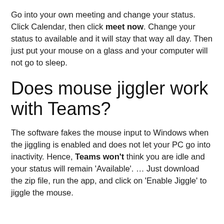Go into your own meeting and change your status. Click Calendar, then click meet now. Change your status to available and it will stay that way all day. Then just put your mouse on a glass and your computer will not go to sleep.
Does mouse jiggler work with Teams?
The software fakes the mouse input to Windows when the jiggling is enabled and does not let your PC go into inactivity. Hence, Teams won't think you are idle and your status will remain 'Available'. … Just download the zip file, run the app, and click on 'Enable Jiggle' to jiggle the mouse.